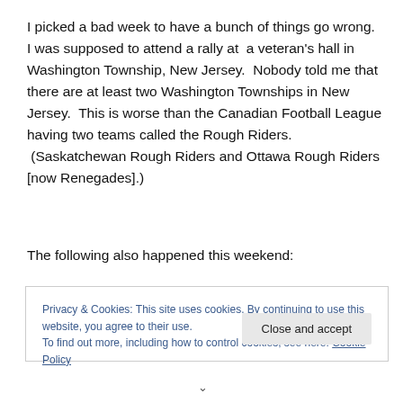I picked a bad week to have a bunch of things go wrong.  I was supposed to attend a rally at  a veteran's hall in Washington Township, New Jersey.  Nobody told me that there are at least two Washington Townships in New Jersey.  This is worse than the Canadian Football League having two teams called the Rough Riders.  (Saskatchewan Rough Riders and Ottawa Rough Riders [now Renegades].)
The following also happened this weekend:
Privacy & Cookies: This site uses cookies. By continuing to use this website, you agree to their use.
To find out more, including how to control cookies, see here: Cookie Policy